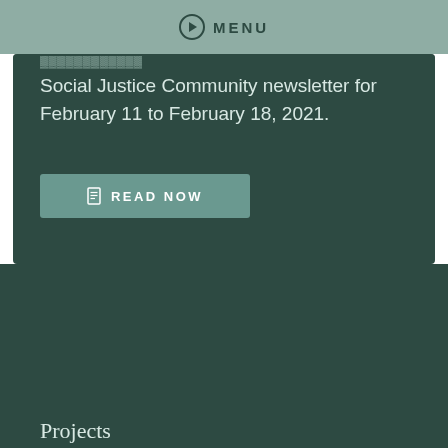MENU
Social Justice Community newsletter for February 11 to February 18, 2021.
READ NOW
[Figure (logo): The Centre for Social Justice logo with stylized maple leaf and bold white text on dark green background]
Projects